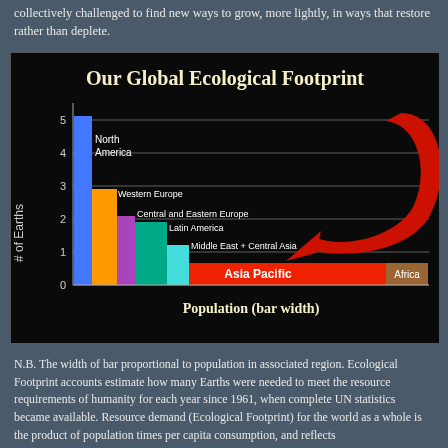collectively challenged to find new ways to grow, more lightly, in ways that restore rather than deplete.
[Figure (bar-chart): Our Global Ecological Footprint]
N.B. The width of bar proportional to population in associated region. Ecological Footprint accounts estimate how many Earths were needed to meet the resource requirements of humanity for each year since 1961, when complete UN statistics became available. Resource demand (Ecological Footprint) for the world as a whole is the product of population times per capita consumption, and reflects